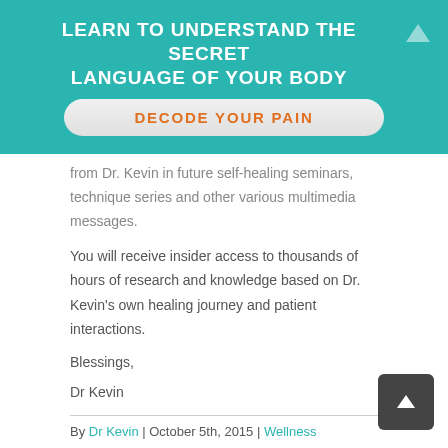LEARN TO UNDERSTAND THE SECRET LANGUAGE OF YOUR BODY
[Figure (other): Orange-text button on rounded rectangle: DECODE YOUR PAIN]
from Dr. Kevin in future self-healing seminars, technique series and other various multimedia messages.
You will receive insider access to thousands of hours of research and knowledge based on Dr. Kevin's own healing journey and patient interactions.
Blessings,
Dr Kevin
By Dr Kevin | October 5th, 2015 | Wellness